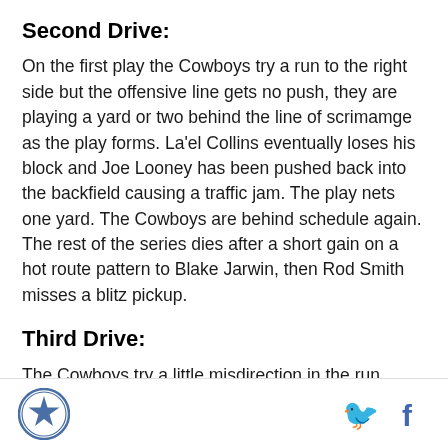Second Drive:
On the first play the Cowboys try a run to the right side but the offensive line gets no push, they are playing a yard or two behind the line of scrimamge as the play forms. La'el Collins eventually loses his block and Joe Looney has been pushed back into the backfield causing a traffic jam. The play nets one yard. The Cowboys are behind schedule again. The rest of the series dies after a short gain on a hot route pattern to Blake Jarwin, then Rod Smith misses a blitz pickup.
Third Drive:
The Cowboys try a little misdirection in the run game by running an end around on first down. Geoff Swaim